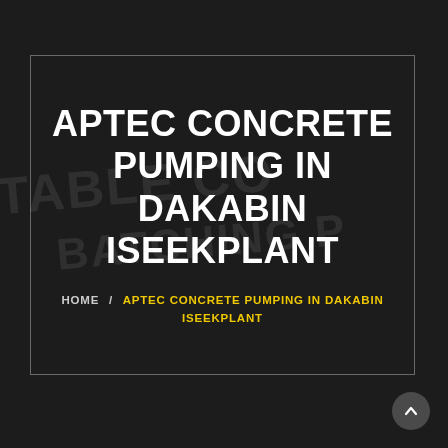[Figure (screenshot): Dark background webpage screenshot showing a construction/equipment site with faint large text reading 'PORTABLE CONCRETE BATCHING' overlaid in the background]
APTEC CONCRETE PUMPING IN DAKABIN ISEEKPLANT
HOME / APTEC CONCRETE PUMPING IN DAKABIN ISEEKPLANT